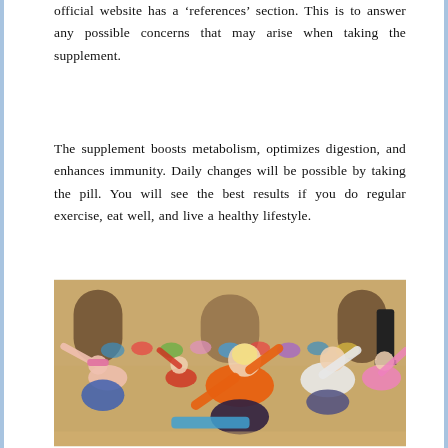official website has a 'references' section. This is to answer any possible concerns that may arise when taking the supplement.
The supplement boosts metabolism, optimizes digestion, and enhances immunity. Daily changes will be possible by taking the pill. You will see the best results if you do regular exercise, eat well, and live a healthy lifestyle.
[Figure (photo): A group of people doing a yoga or stretching exercise class in a large hall. In the foreground, a person in an orange shirt and a person in a pink top are doing a side stretch. Many participants are visible in the background.]